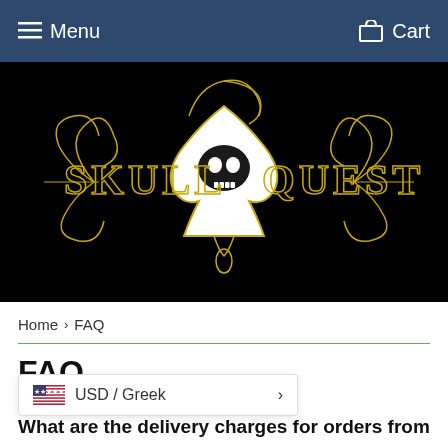Menu   Cart
[Figure (logo): Skull Quest logo on black background — ornate gold lettering with a skull inside a spade card suit symbol, surrounded by decorative gold scroll-work]
Home › FAQ
FAQ
USD / Greek
What are the delivery charges for orders from